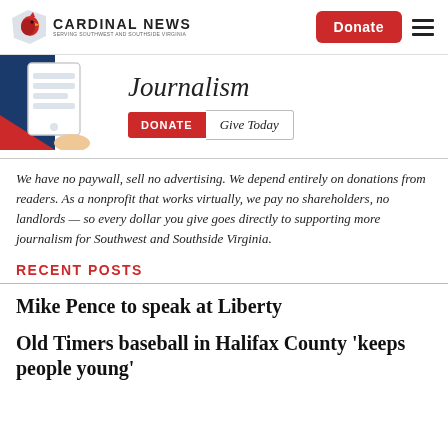CARDINAL NEWS | Donate
[Figure (logo): Cardinal News logo with bird illustration and text 'CARDINAL NEWS']
[Figure (illustration): Banner illustration with a hand holding a phone/tablet, red white and blue colors, with text 'Journalism' and a DONATE / Give Today button]
We have no paywall, sell no advertising. We depend entirely on donations from readers. As a nonprofit that works virtually, we pay no shareholders, no landlords — so every dollar you give goes directly to supporting more journalism for Southwest and Southside Virginia.
RECENT POSTS
Mike Pence to speak at Liberty
Old Timers baseball in Halifax County 'keeps people young'